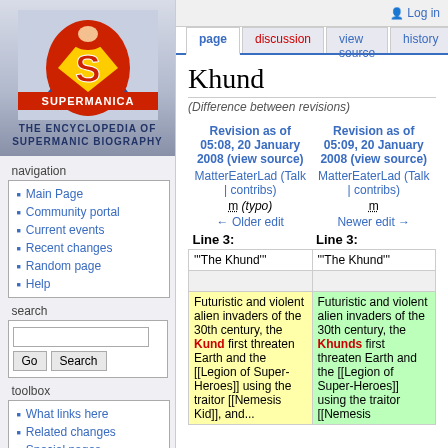[Figure (logo): Supermanica logo - Superman S shield with SUPERMANICA text and tagline THE ENCYCLOPEDIA OF SUPERMANIC BIOGRAPHY]
navigation
Main Page
Community portal
Current events
Recent changes
Random page
Help
search
toolbox
What links here
Related changes
Special pages
Log in
Khund
(Difference between revisions)
| Revision as of 05:08, 20 January 2008 (view source) | Revision as of 05:09, 20 January 2008 (view source) |
| --- | --- |
| MatterEaterLad (Talk | contribs) | MatterEaterLad (Talk | contribs) |
| m (typo) | m |
| ← Older edit | Newer edit → |
| Line 3: | Line 3: |
| "'The Khund'" | "'The Khund'" |
|  |  |
| Futuristic and violent alien invaders of the 30th century, the Kund first threaten Earth and the [[Legion of Super-Heroes]] using the traitor [[Nemesis Kid]], and... | Futuristic and violent alien invaders of the 30th century, the Khunds first threaten Earth and the [[Legion of Super-Heroes]] using the traitor [[Nemesis... |